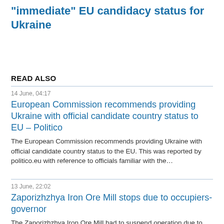"immediate" EU candidacy status for Ukraine
READ ALSO
14 June, 04:17
European Commission recommends providing Ukraine with official candidate country status to EU – Politico
The European Commission recommends providing Ukraine with official candidate country status to the EU. This was reported by politico.eu with reference to officials familiar with the…
13 June, 22:02
Zaporizhzhya Iron Ore Mill stops due to occupiers- governor
The Zaporizhzhya Iron Ore Mill had to suspend operation due to Russian invaders, the head of the Zaporizhzhya regional military